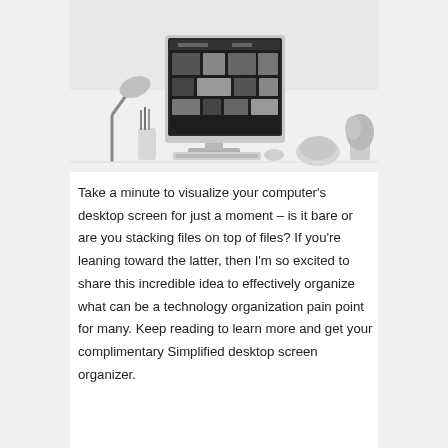[Figure (photo): Black and white photograph of a minimalist desktop workspace with an iMac computer displaying a dark-themed grid layout, a desk lamp, pencil holder, teapot, and other accessories on a white surface.]
Take a minute to visualize your computer's desktop screen for just a moment – is it bare or are you stacking files on top of files? If you're leaning toward the latter, then I'm so excited to share this incredible idea to effectively organize what can be a technology organization pain point for many. Keep reading to learn more and get your complimentary Simplified desktop screen organizer.